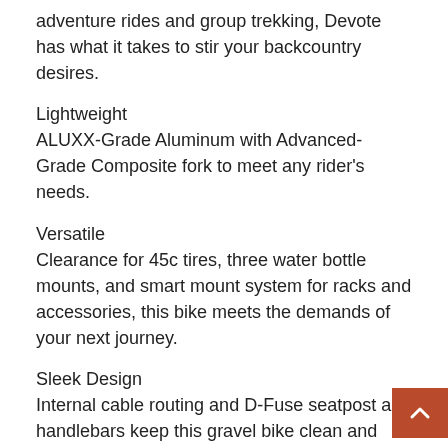adventure rides and group trekking, Devote has what it takes to stir your backcountry desires.
Lightweight
ALUXX-Grade Aluminum with Advanced-Grade Composite fork to meet any rider's needs.
Versatile
Clearance for 45c tires, three water bottle mounts, and smart mount system for racks and accessories, this bike meets the demands of your next journey.
Sleek Design
Internal cable routing and D-Fuse seatpost and handlebars keep this gravel bike clean and contoured for all-day adventure.
Why We Love It
Travel by two wheels into new terrain to satiate your sense of adventure, plus bring all your gear for some